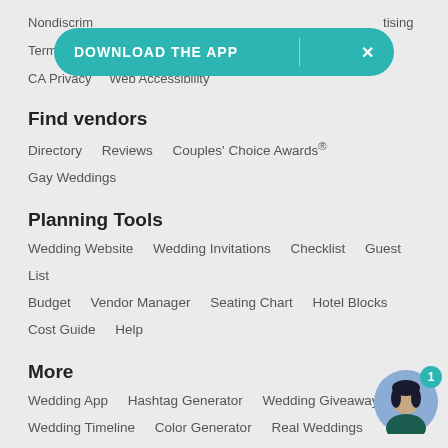[Figure (screenshot): Download The App banner button with teal background and X close button]
Nondiscrim... tising
Terms of Use   Privacy Policy   Do Not Sell My Info
CA Privacy   Web Accessibility
Find vendors
Directory   Reviews   Couples' Choice Awards®
Gay Weddings
Planning Tools
Wedding Website   Wedding Invitations   Checklist   Guest List
Budget   Vendor Manager   Seating Chart   Hotel Blocks
Cost Guide   Help
More
Wedding App   Hashtag Generator   Wedding Giveaway
Wedding Timeline   Color Generator   Real Weddings
[Figure (illustration): Chat avatar of a woman with dark hair, teal background, with notification badge showing 1]